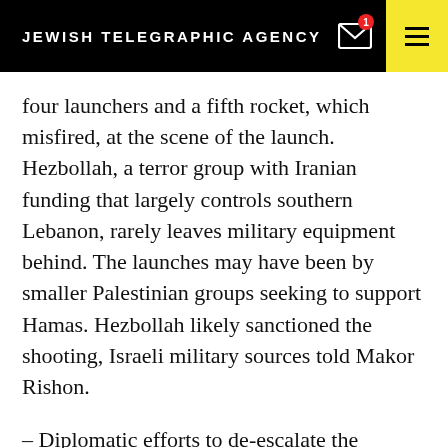JEWISH TELEGRAPHIC AGENCY
four launchers and a fifth rocket, which misfired, at the scene of the launch. Hezbollah, a terror group with Iranian funding that largely controls southern Lebanon, rarely leaves military equipment behind. The launches may have been by smaller Palestinian groups seeking to support Hamas. Hezbollah likely sanctioned the shooting, Israeli military sources told Makor Rishon.
— Diplomatic efforts to de-escalate the hostilities are underway and being led by the United States; Germany, Egypt and Qatar, Israeli media reported. Israeli Defense Minister Benny Gantz instructed the IDF to prepare to